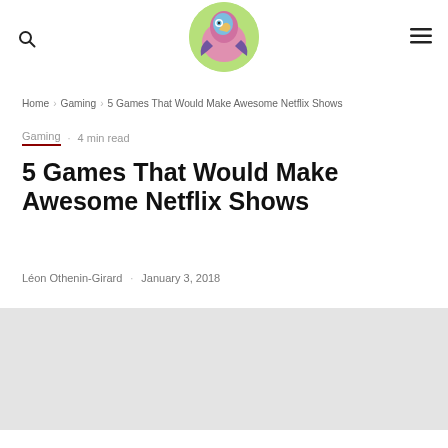[Figure (logo): Colorful illustrated vulture/bird logo on a green circular background]
🔍
≡
Home › Gaming › 5 Games That Would Make Awesome Netflix Shows
Gaming · 4 min read
5 Games That Would Make Awesome Netflix Shows
Léon Othenin-Girard · January 3, 2018
[Figure (other): Gray placeholder image block]